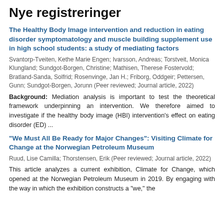Nye registreringer
The Healthy Body Image intervention and reduction in eating disorder symptomatology and muscle building supplement use in high school students: a study of mediating factors
Svantorp-Tveiten, Kethe Marie Engen; Ivarsson, Andreas; Torstveit, Monica Klungland; Sundgot-Borgen, Christine; Mathisen, Therese Fostervold; Bratland-Sanda, Solfrid; Rosenvinge, Jan H.; Friborg, Oddgeir; Pettersen, Gunn; Sundgot-Borgen, Jorunn (Peer reviewed; Journal article, 2022)
Background: Mediation analysis is important to test the theoretical framework underpinning an intervention. We therefore aimed to investigate if the healthy body image (HBI) intervention's effect on eating disorder (ED) ...
“We Must All Be Ready for Major Changes”: Visiting Climate for Change at the Norwegian Petroleum Museum
Ruud, Lise Camilla; Thorstensen, Erik (Peer reviewed; Journal article, 2022)
This article analyzes a current exhibition, Climate for Change, which opened at the Norwegian Petroleum Museum in 2019. By engaging with the way in which the exhibition constructs a “we,” the